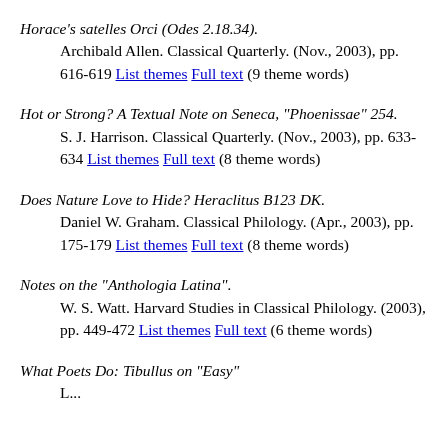Horace's satelles Orci (Odes 2.18.34). Archibald Allen. Classical Quarterly. (Nov., 2003), pp. 616-619 List themes Full text (9 theme words)
Hot or Strong? A Textual Note on Seneca, "Phoenissae" 254. S. J. Harrison. Classical Quarterly. (Nov., 2003), pp. 633-634 List themes Full text (8 theme words)
Does Nature Love to Hide? Heraclitus B123 DK. Daniel W. Graham. Classical Philology. (Apr., 2003), pp. 175-179 List themes Full text (8 theme words)
Notes on the "Anthologia Latina". W. S. Watt. Harvard Studies in Classical Philology. (2003), pp. 449-472 List themes Full text (6 theme words)
What Poets Do: Tibullus on "Easy" ...